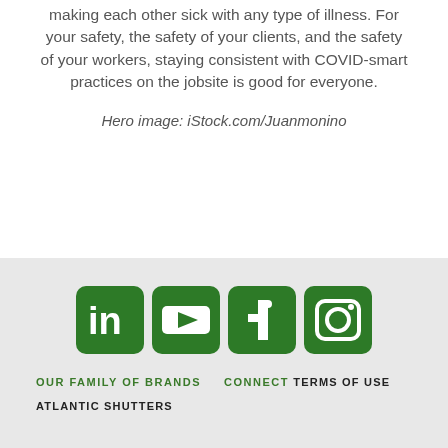making each other sick with any type of illness. For your safety, the safety of your clients, and the safety of your workers, staying consistent with COVID-smart practices on the jobsite is good for everyone.
Hero image: iStock.com/Juanmonino
[Figure (infographic): Four green rounded-square social media icons: LinkedIn, YouTube, Facebook, Instagram]
OUR FAMILY OF BRANDS
CONNECT
ATLANTIC SHUTTERS
TERMS OF USE